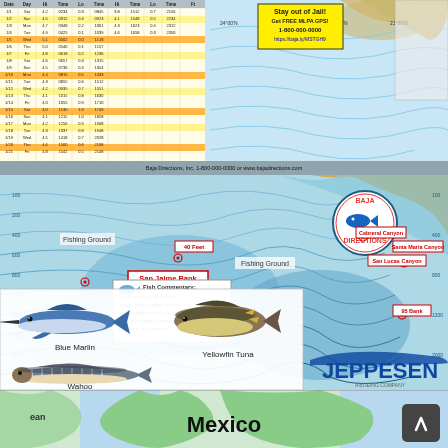[Figure (map): Top fishing chart with tide/data table on left, bathymetric ocean map on right, yellow 'Stay out of Jail' advertisement box, Baja Directions footer bar]
[Figure (map): Middle bathymetric fishing map of Los Cabos/Baja area showing contour lines, fishing grounds, underwater canyons and banks labeled in red, Baja Directions logo, fish commentary box for San Jaime Bank, fish illustrations (Blue Marlin, Yellowfin Tuna, Wahoo), Jeppesen logo]
[Figure (map): Bottom regional map showing Mexico with bold 'Mexico' label in black, green land areas, light blue ocean, back/up navigation button in lower right]